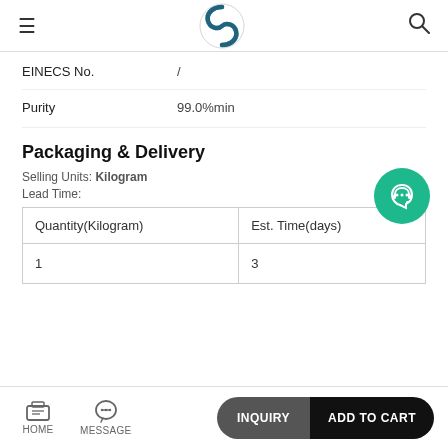≡ [logo] 🔍
| EINECS No. | / |
| --- | --- |
| Purity | 99.0%min |
Packaging & Delivery
Selling Units: Kilogram
Lead Time:
| Quantity(Kilogram) | Est. Time(days) |
| --- | --- |
| 1 | 3 |
HOME  MESSAGE  INQUIRY  ADD TO CART